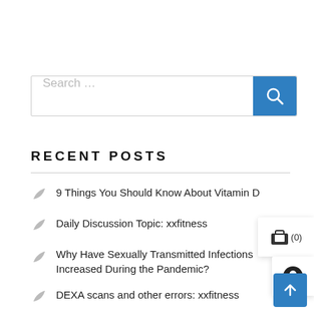[Figure (screenshot): Search bar with placeholder text 'Search ...' and a blue search button with magnifying glass icon]
RECENT POSTS
9 Things You Should Know About Vitamin D
Daily Discussion Topic: xxfitness
Why Have Sexually Transmitted Infections Increased During the Pandemic?
DEXA scans and other errors: xxfitness
Daily Discussion Topic: xxfitness